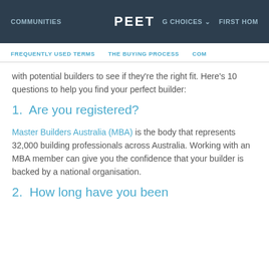COMMUNITIES  PEET  G CHOICES  FIRST HOM
FREQUENTLY USED TERMS   THE BUYING PROCESS   COM
with potential builders to see if they're the right fit. Here's 10 questions to help you find your perfect builder:
1.  Are you registered?
Master Builders Australia (MBA) is the body that represents 32,000 building professionals across Australia. Working with an MBA member can give you the confidence that your builder is backed by a national organisation.
2.  How long have you been